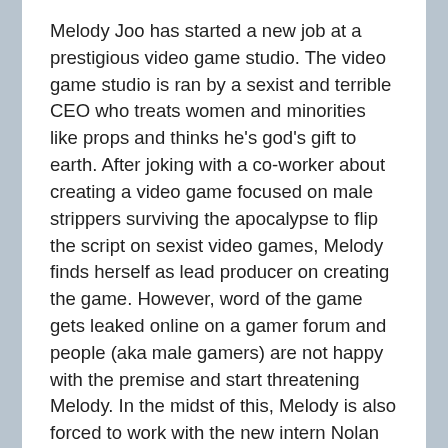Melody Joo has started a new job at a prestigious video game studio. The video game studio is ran by a sexist and terrible CEO who treats women and minorities like props and thinks he's god's gift to earth. After joking with a co-worker about creating a video game focused on male strippers surviving the apocalypse to flip the script on sexist video games, Melody finds herself as lead producer on creating the game. However, word of the game gets leaked online on a gamer forum and people (aka male gamers) are not happy with the premise and start threatening Melody. In the midst of this, Melody is also forced to work with the new intern Nolan who happens to be the CEO's nephew. She doesn't like him at first, but ends up finding she enjoys spending time with him and he's not like